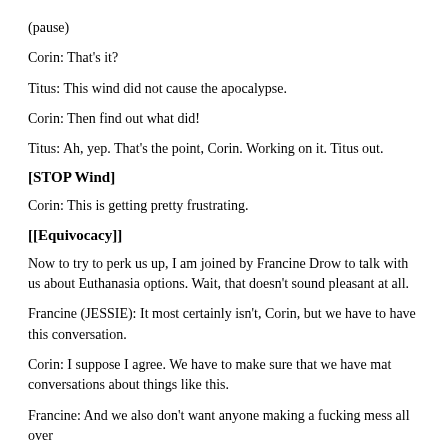(pause)
Corin: That's it?
Titus: This wind did not cause the apocalypse.
Corin: Then find out what did!
Titus: Ah, yep. That's the point, Corin. Working on it. Titus out.
[STOP Wind]
Corin: This is getting pretty frustrating.
[[Equivocacy]]
Now to try to perk us up, I am joined by Francine Drow to talk with us about Euthanasia options. Wait, that doesn't sound pleasant at all.
Francine (JESSIE): It most certainly isn't, Corin, but we have to have this conversation.
Corin: I suppose I agree. We have to make sure that we have mat conversations about things like this.
Francine: And we also don't want anyone making a fucking mess all over